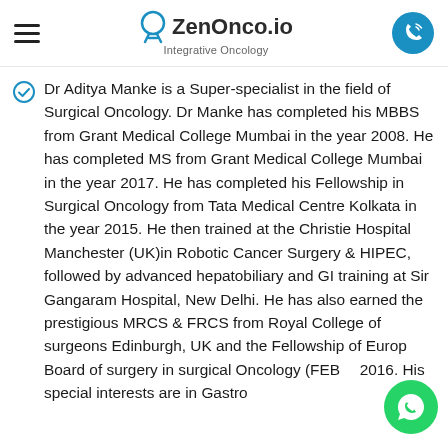ZenOnco.io Integrative Oncology
Dr Aditya Manke is a Super-specialist in the field of Surgical Oncology. Dr Manke has completed his MBBS from Grant Medical College Mumbai in the year 2008. He has completed MS from Grant Medical College Mumbai in the year 2017. He has completed his Fellowship in Surgical Oncology from Tata Medical Centre Kolkata in the year 2015. He then trained at the Christie Hospital Manchester (UK)in Robotic Cancer Surgery & HIPEC, followed by advanced hepatobiliary and GI training at Sir Gangaram Hospital, New Delhi. He has also earned the prestigious MRCS & FRCS from Royal College of surgeons Edinburgh, UK and the Fellowship of European Board of surgery in surgical Oncology (FEBS) 2016. His special interests are in Gastro